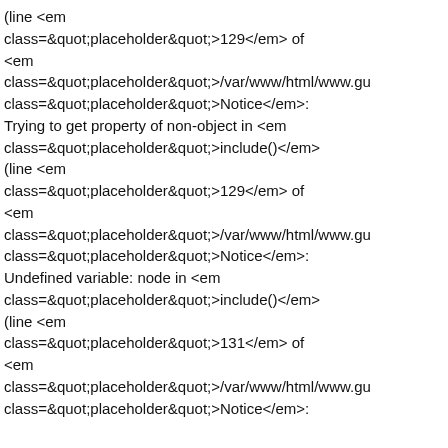(line &lt;em class=&quot;placeholder&quot;&gt;129&lt;/em&gt; of &lt;em class=&quot;placeholder&quot;&gt;/var/www/html/www.gu class=&quot;placeholder&quot;&gt;Notice&lt;/em&gt;: Trying to get property of non-object in &lt;em class=&quot;placeholder&quot;&gt;include()&lt;/em&gt; (line &lt;em class=&quot;placeholder&quot;&gt;129&lt;/em&gt; of &lt;em class=&quot;placeholder&quot;&gt;/var/www/html/www.gu class=&quot;placeholder&quot;&gt;Notice&lt;/em&gt;: Undefined variable: node in &lt;em class=&quot;placeholder&quot;&gt;include()&lt;/em&gt; (line &lt;em class=&quot;placeholder&quot;&gt;131&lt;/em&gt; of &lt;em class=&quot;placeholder&quot;&gt;/var/www/html/www.gu class=&quot;placeholder&quot;&gt;Notice&lt;/em&gt;: